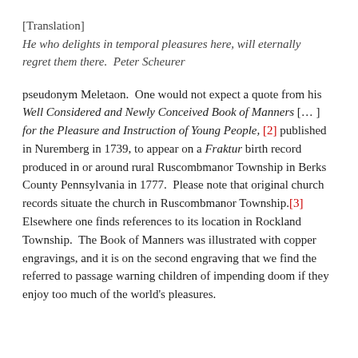[Translation]
He who delights in temporal pleasures here, will eternally regret them there.  Peter Scheurer
pseudonym Meletaon.  One would not expect a quote from his Well Considered and Newly Conceived Book of Manners [… ] for the Pleasure and Instruction of Young People, [2] published in Nuremberg in 1739, to appear on a Fraktur birth record produced in or around rural Ruscombmanor Township in Berks County Pennsylvania in 1777.  Please note that original church records situate the church in Ruscombmanor Township.[3]  Elsewhere one finds references to its location in Rockland Township.  The Book of Manners was illustrated with copper engravings, and it is on the second engraving that we find the referred to passage warning children of impending doom if they enjoy too much of the world's pleasures.